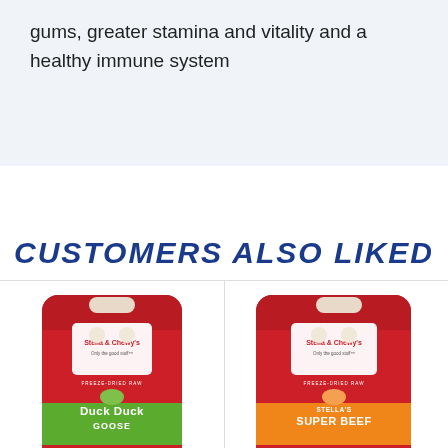gums, greater stamina and vitality and a healthy immune system
CUSTOMERS ALSO LIKED
[Figure (photo): Stella & Chewy's Duck Duck Goose Dinner Patties freeze-dried raw dog food bag in red with green label]
[Figure (photo): Stella & Chewy's Stella's Super Beef Dinner Patties freeze-dried raw dog food bag in red with orange label]